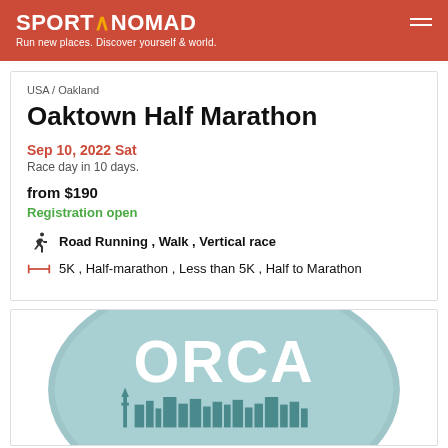SPORT∧NOMAD — Run new places. Discover yourself & world.
USA / Oakland
Oaktown Half Marathon
Sep 10, 2022 Sat
Race day in 10 days.
from $190
Registration open
Road Running , Walk , Vertical race
5K , Half-marathon , Less than 5K , Half to Marathon
[Figure (logo): ORCA logo — circular badge with teal background, large white text 'ORCA', Seattle skyline silhouette with Space Needle in dark teal]